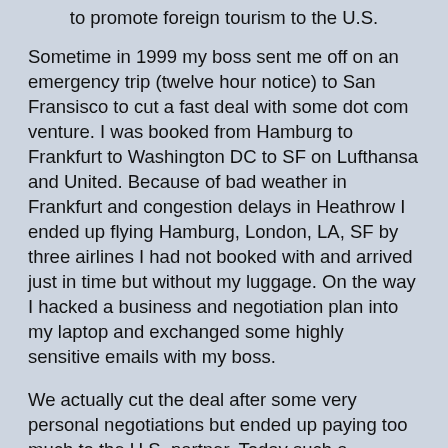to promote foreign tourism to the U.S.
Sometime in 1999 my boss sent me off on an emergency trip (twelve hour notice) to San Fransisco to cut a fast deal with some dot com venture. I was booked from Hamburg to Frankfurt to Washington DC to SF on Lufthansa and United. Because of bad weather in Frankfurt and congestion delays in Heathrow I ended up flying Hamburg, London, LA, SF by three airlines I had not booked with and arrived just in time but without my luggage. On the way I hacked a business and negotiation plan into my laptop and exchanged some highly sensitive emails with my boss.
We actually cut the deal after some very personal negotiations but ended up paying too much to the U.S. partner. Today such a business would be impossible. The airlines will no longer allow such emergency flight switching, sensitive data on a laptop may kill your company and not many managers like the personal disparagement that now comes with the entry of the U.S.
Not one of the above measures would have prevented